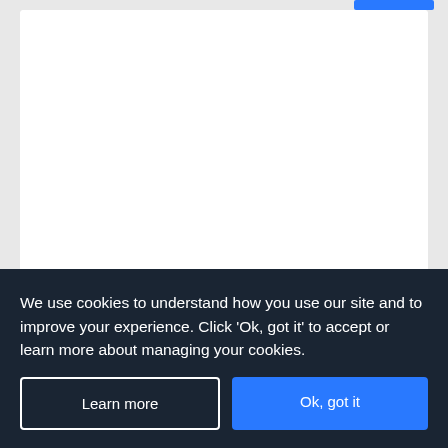Azuline Hotel Coral Beach
Playa Es Cana, Ibiza
[Figure (other): Hotel card with white image placeholder, 3 blue star rating icons, TripAdvisor owl logo and 4.5/5 green circle rating]
We use cookies to understand how you use our site and to improve your experience. Click 'Ok, got it' to accept or learn more about managing your cookies.
Learn more
Ok, got it